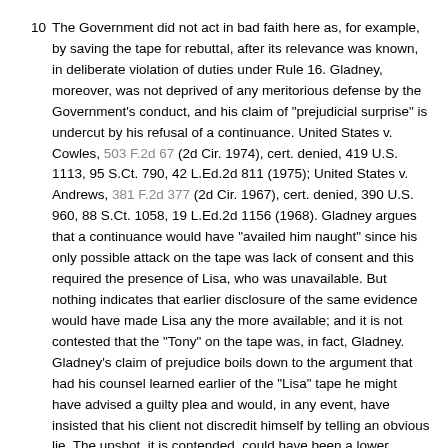10 The Government did not act in bad faith here as, for example, by saving the tape for rebuttal, after its relevance was known, in deliberate violation of duties under Rule 16. Gladney, moreover, was not deprived of any meritorious defense by the Government's conduct, and his claim of "prejudicial surprise" is undercut by his refusal of a continuance. United States v. Cowles, 503 F.2d 67 (2d Cir. 1974), cert. denied, 419 U.S. 1113, 95 S.Ct. 790, 42 L.Ed.2d 811 (1975); United States v. Andrews, 381 F.2d 377 (2d Cir. 1967), cert. denied, 390 U.S. 960, 88 S.Ct. 1058, 19 L.Ed.2d 1156 (1968). Gladney argues that a continuance would have "availed him naught" since his only possible attack on the tape was lack of consent and this required the presence of Lisa, who was unavailable. But nothing indicates that earlier disclosure of the same evidence would have made Lisa any the more available; and it is not contested that the "Tony" on the tape was, in fact, Gladney. Gladney's claim of prejudice boils down to the argument that had his counsel learned earlier of the "Lisa" tape he might have advised a guilty plea and would, in any event, have insisted that his client not discredit himself by telling an obvious lie. The upshot, it is contended, could have been a lower sentence.